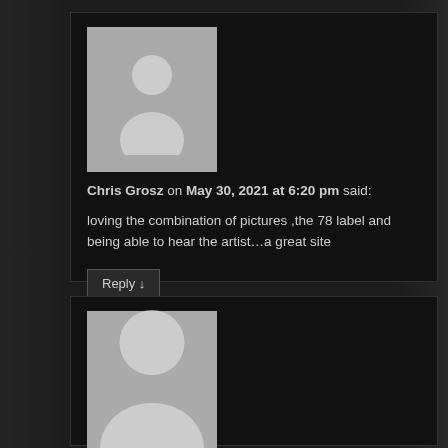Chris Grosz on May 30, 2021 at 6:20 pm said: loving the combination of pictures ,the 78 label and being able to hear the artist…a great site
Reply ↓
Suzanne Cimperman on July 22, 2021 at 6:28 pm said: Such good music…Johnny Gimble has been my recognizable hero.